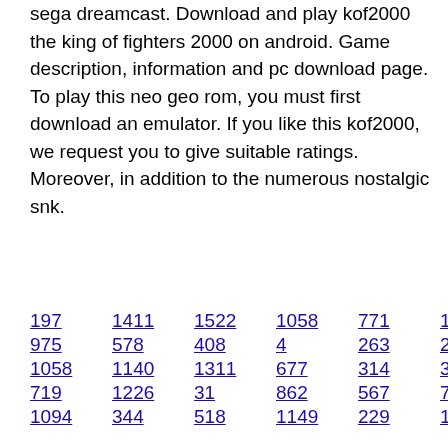sega dreamcast. Download and play kof2000 the king of fighters 2000 on android. Game description, information and pc download page. To play this neo geo rom, you must first download an emulator. If you like this kof2000, we request you to give suitable ratings. Moreover, in addition to the numerous nostalgic snk.
197  1411  1522  1058  771  111
975  578  408  4  263  236  628
1058  1140  1311  677  314  38
719  1226  31  862  567  799
1094  344  518  1149  229  1287